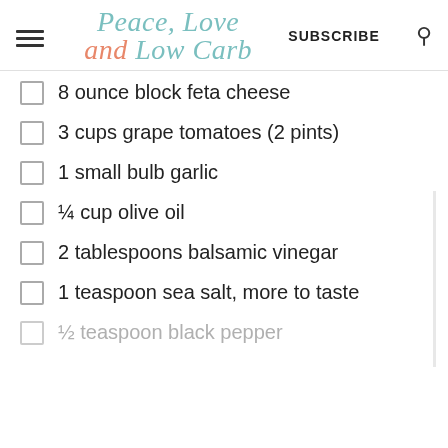Peace, Love and Low Carb — SUBSCRIBE
8 ounce block feta cheese
3 cups grape tomatoes (2 pints)
1 small bulb garlic
¼ cup olive oil
2 tablespoons balsamic vinegar
1 teaspoon sea salt, more to taste
½ teaspoon black pepper